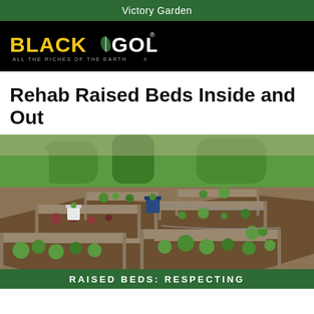Victory Garden
[Figure (logo): Black Gold logo — bold yellow and white text on black background with tagline ALL THE RICHES OF THE EARTH]
Rehab Raised Beds Inside and Out
[Figure (photo): Aerial view of multiple rectangular wooden raised garden beds filled with soil and various plants and vegetables in a backyard garden setting]
RAISED BEDS: RESPECTING